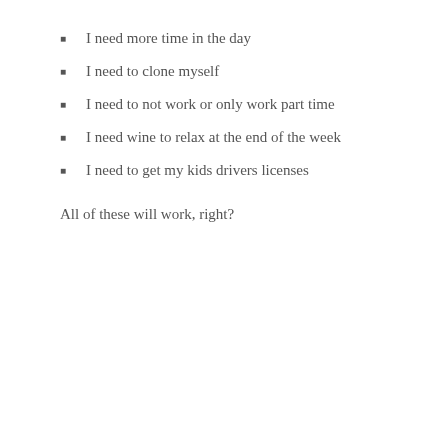I need more time in the day
I need to clone myself
I need to not work or only work part time
I need wine to relax at the end of the week
I need to get my kids drivers licenses
All of these will work, right?